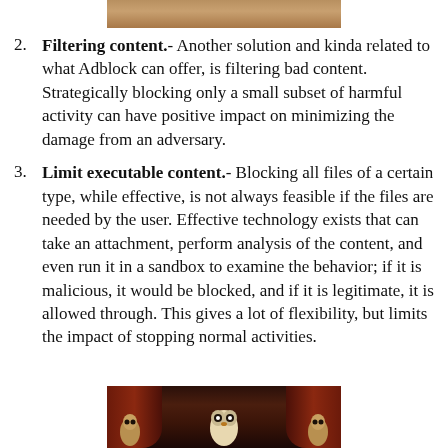[Figure (photo): Partial image of a person at the top of the page]
Filtering content.- Another solution and kinda related to what Adblock can offer, is filtering bad content. Strategically blocking only a small subset of harmful activity can have positive impact on minimizing the damage from an adversary.
Limit executable content.- Blocking all files of a certain type, while effective, is not always feasible if the files are needed by the user. Effective technology exists that can take an attachment, perform analysis of the content, and even run it in a sandbox to examine the behavior; if it is malicious, it would be blocked, and if it is legitimate, it is allowed through. This gives a lot of flexibility, but limits the impact of stopping normal activities.
[Figure (photo): Dark theatrical scene with red curtains and figures, possibly animated characters]